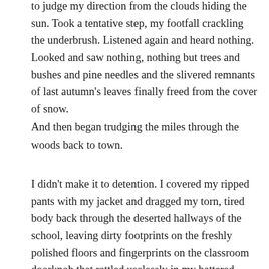to judge my direction from the clouds hiding the sun. Took a tentative step, my footfall crackling the underbrush. Listened again and heard nothing. Looked and saw nothing, nothing but trees and bushes and pine needles and the slivered remnants of last autumn's leaves finally freed from the cover of snow.
And then began trudging the miles through the woods back to town.
I didn't make it to detention. I covered my ripped pants with my jacket and dragged my torn, tired body back through the deserted hallways of the school, leaving dirty footprints on the freshly polished floors and fingerprints on the classroom doorknob that rattled uselessly in my battered hands. Josh told me later that Mr. Cooper hadn't shown up, either. Apparently he'd forgotten all about assigning us detention. Had viewed it, perhaps, as a temporary, meaningless distraction from an important lesson in physics.